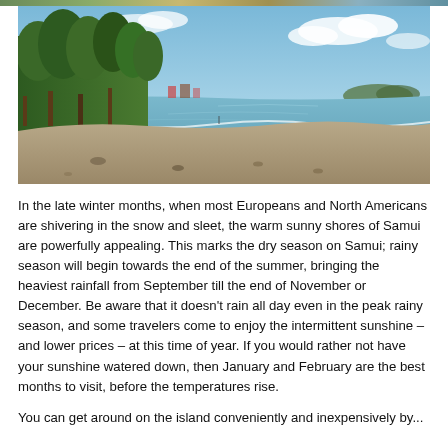[Figure (photo): A beach scene with calm turquoise water on the right, sandy/pebbly shore in the foreground, and dense green trees lining the left side with a distant island or headland visible on the right horizon under a partly cloudy blue sky.]
In the late winter months, when most Europeans and North Americans are shivering in the snow and sleet, the warm sunny shores of Samui are powerfully appealing. This marks the dry season on Samui; rainy season will begin towards the end of the summer, bringing the heaviest rainfall from September till the end of November or December. Be aware that it doesn't rain all day even in the peak rainy season, and some travelers come to enjoy the intermittent sunshine – and lower prices – at this time of year. If you would rather not have your sunshine watered down, then January and February are the best months to visit, before the temperatures rise.
You can get around on the island conveniently and inexpensively by...